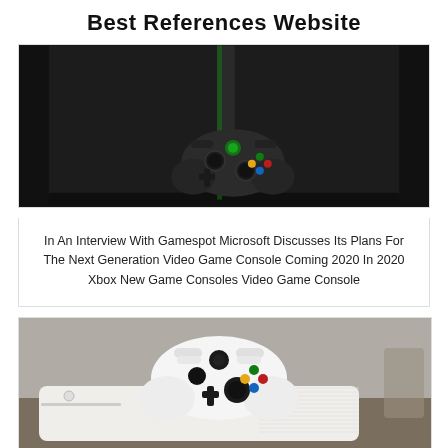Best References Website
[Figure (photo): Dark Xbox Series X gaming console standing vertically with a black Xbox controller in front, photographed against a near-black background]
In An Interview With Gamespot Microsoft Discusses Its Plans For The Next Generation Video Game Console Coming 2020 In 2020 Xbox New Game Consoles Video Game Console
[Figure (photo): White Xbox One S gaming console lying flat on a surface with a white Xbox controller with black buttons on top, photographed from a slightly elevated angle]